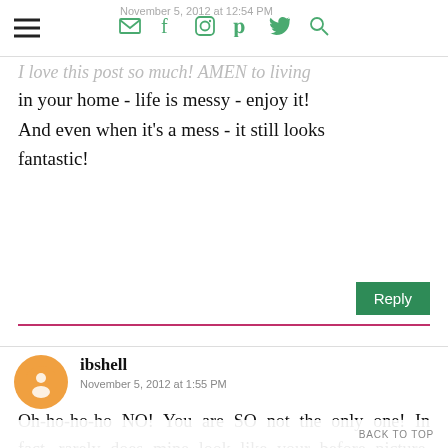November 5, 2012 at 12:54 PM
I love this post so much! AMEN to living in your home - life is messy - enjoy it! And even when it's a mess - it still looks fantastic!
Reply
ibshell
November 5, 2012 at 1:55 PM
Oh-ho-ho-ho NO! You are SO not the only one! In fact...rarely does mine look like your before picture. *sigh* It's actually releiving to see that your house looks like that more regularly. They say it's called "lived in"! ;)
BACK TO TOP